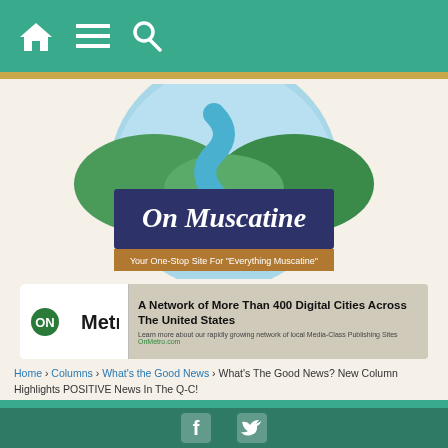Navigation bar with home, menu, and search icons
[Figure (logo): On Muscatine logo — circular landscape illustration with river, green hills, blue sky, with dark blue banner reading 'On Muscatine' in script and tagline 'Your One-Stop Site For "Everything Muscatine"']
[Figure (infographic): ONMetro banner — A Network of More Than 400 Digital Cities Across The United States. Learn more about our rapidly growing network of local Media-Class Publishing Sites OnMetro.com]
Home › Columns › What's the Good News › What's The Good News? New Column Highlights POSITIVE News In The Q-C!
What's The Good News? New Column Highlights POSITIVE News
Facebook and Twitter social icons